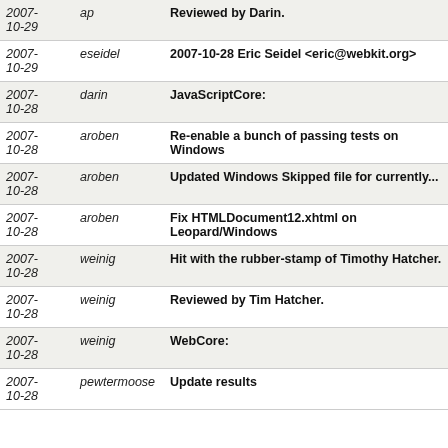| Date | Author | Description |
| --- | --- | --- |
| 2007-10-29 | ap | Reviewed by Darin. |
| 2007-10-29 | eseidel | 2007-10-28 Eric Seidel <eric@webkit.org> |
| 2007-10-28 | darin | JavaScriptCore: |
| 2007-10-28 | aroben | Re-enable a bunch of passing tests on Windows |
| 2007-10-28 | aroben | Updated Windows Skipped file for currently... |
| 2007-10-28 | aroben | Fix HTMLDocument12.xhtml on Leopard/Windows |
| 2007-10-28 | weinig | Hit with the rubber-stamp of Timothy Hatcher. |
| 2007-10-28 | weinig | Reviewed by Tim Hatcher. |
| 2007-10-28 | weinig | WebCore: |
| 2007-10-28 | pewtermoose | Update results |